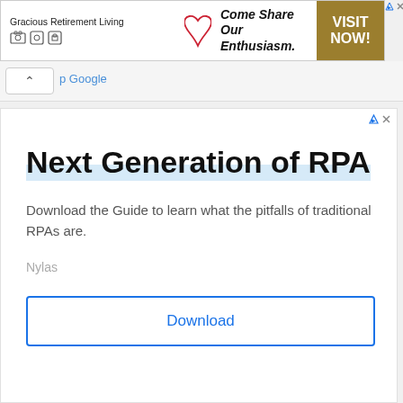[Figure (screenshot): Top advertisement banner: Gracious Retirement Living with heart logo. Text reads 'Come Share Our Enthusiasm.' with a gold 'VISIT NOW!' button on the right. AdChoices icons in top right corner.]
[Figure (screenshot): Browser UI element: chevron up button and partial blue link text 'p Google' visible in a light gray navigation bar.]
[Figure (screenshot): Second advertisement block: Title 'Next Generation of RPA' with light blue highlight underline. Body text 'Download the Guide to learn what the pitfalls of traditional RPAs are.' Brand name 'Nylas'. Blue outlined 'Download' button at bottom.]